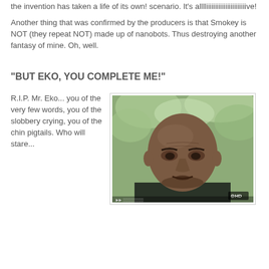the invention has taken a life of its own! scenario. It's alllliiiiiiiiiiiiiiiiiiiiiiive!
Another thing that was confirmed by the producers is that Smokey is NOT (they repeat NOT) made up of nanobots. Thus destroying another fantasy of mine. Oh, well.
"BUT EKO, YOU COMPLETE ME!"
R.I.P. Mr. Eko... you of the very few words, you of the slobbery crying, you of the chin pigtails. Who will stare...
[Figure (photo): A bald older man in a dark green shirt looking downward, photographed outdoors with greenery in background. HD badge visible in lower right corner.]